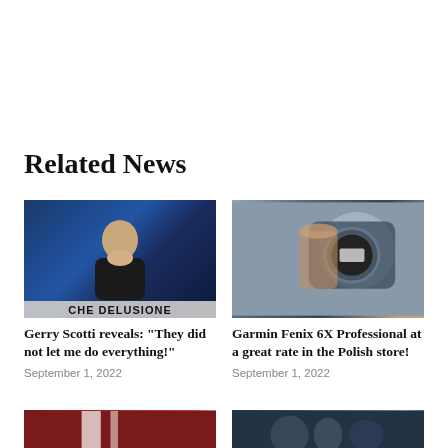Related News
[Figure (photo): Man in dark suit against blue city background at night with 'CHE DELUSIONE' text overlay]
Gerry Scotti reveals: “They did not let me do everything!”
September 1, 2022
[Figure (photo): Hand holding a Garmin Fenix 6X Professional smartwatch]
Garmin Fenix 6X Professional at a great rate in the Polish store!
September 1, 2022
[Figure (photo): Partial image - dark red/maroon background with white objects]
[Figure (photo): Partial image - crowd scene with dark blue tones]